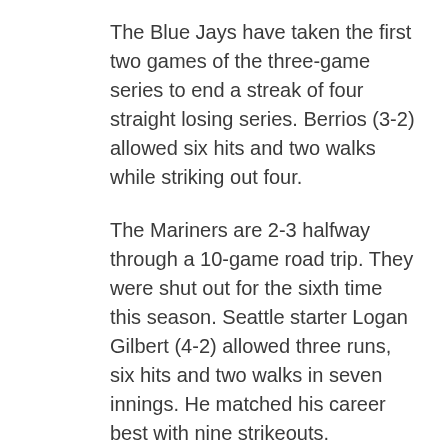The Blue Jays have taken the first two games of the three-game series to end a streak of four straight losing series. Berrios (3-2) allowed six hits and two walks while striking out four.
The Mariners are 2-3 halfway through a 10-game road trip. They were shut out for the sixth time this season. Seattle starter Logan Gilbert (4-2) allowed three runs, six hits and two walks in seven innings. He matched his career best with nine strikeouts.
Padres 3, Phillies 0